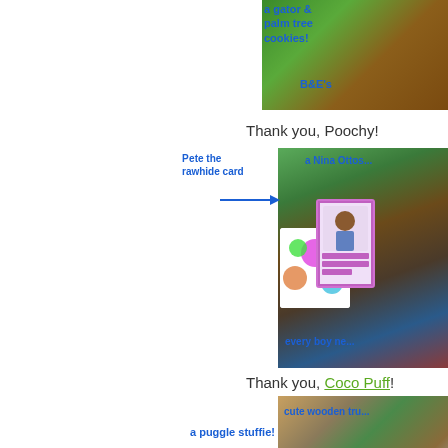[Figure (photo): Photo of gator and palm tree cookies on a table, partially cropped, with blue handwritten annotations reading 'a gator & palm tree cookies!' and 'B&E's']
Thank you, Poochy!
[Figure (photo): Photo of dog gifts on a polka-dot mat including a birthday card, polka-dot bag, and red construction toy. Blue handwritten annotations: 'a Nina Ottoss...', 'Pete the rawhide card', 'every boy ne...' with an arrow pointing to the birthday card.]
Thank you, Coco Puff!
[Figure (photo): Photo of dog paws and a wooden toy box/truck. Blue handwritten annotations: 'cute wooden tru...' and 'a puggle stuffie!']